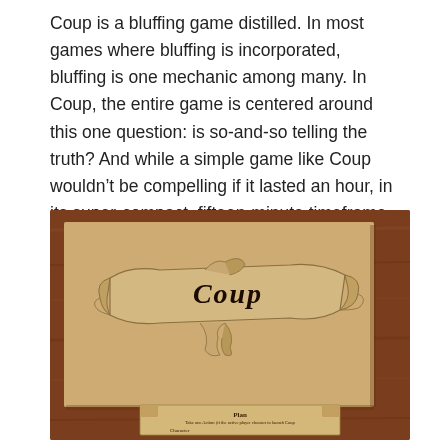Coup is a bluffing game distilled. In most games where bluffing is incorporated, bluffing is one mechanic among many. In Coup, the entire game is centered around this one question: is so-and-so telling the truth? And while a simple game like Coup wouldn't be compelling if it lasted an hour, in its super-compact, fifteen-minute timeframe, Coup packs quite a punch.
[Figure (photo): A photograph showing a wooden table surface with a parchment-colored game card for the board game 'Coup'. The card features a decorative scroll banner with the word 'Coup' written in gothic/blackletter font. Below is a smaller card with ornate borders showing text including 'Plan' and 'Character'.]